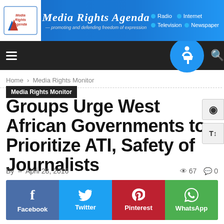[Figure (screenshot): Media Rights Agenda website header banner with logo, site title, tagline, and navigation links for Radio, Internet, Television, Newspaper]
Media Rights Agenda — promoting and defending freedom of expression
Home › Media Rights Monitor
Media Rights Monitor
Groups Urge West African Governments to Prioritize ATI, Safety of Journalists
By  -  April 28, 2016   67   0
[Figure (infographic): Social share buttons: Facebook (blue), Twitter (light blue), Pinterest (red), WhatsApp (green), each with icon and label]